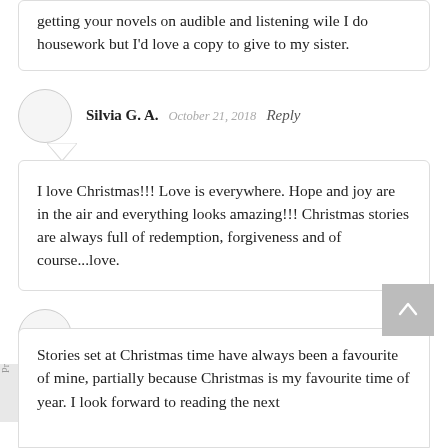getting your novels on audible and listening while I do housework but I'd love a copy to give to my sister.
Silvia G. A.   October 21, 2018   Reply
I love Christmas!!! Love is everywhere. Hope and joy are in the air and everything looks amazing!!! Christmas stories are always full of redemption, forgiveness and of course...love.
Suzanne S.   October 21, 2018   Reply
Stories set at Christmas time have always been a favourite of mine, partially because Christmas is my favourite time of year. I look forward to reading the next